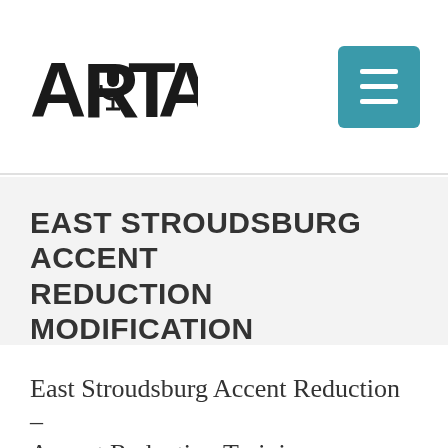[Figure (logo): ARITA logo with microphone icon between AR and TA text in bold black letters]
EAST STROUDSBURG ACCENT REDUCTION MODIFICATION
Home / East Stroudsburg Accent Reduction Modification
East Stroudsburg Accent Reduction – Accent Reduction Training Association